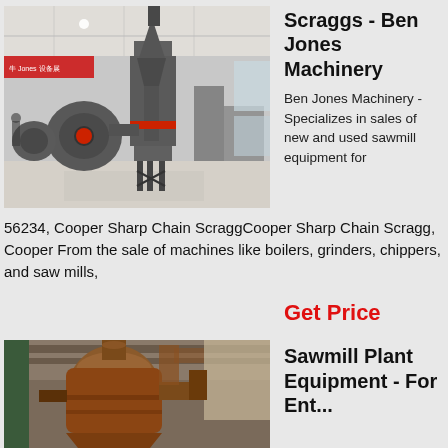[Figure (photo): Industrial grinding/milling machinery displayed in a large warehouse or exhibition hall with red banners and overhead lighting.]
Scraggs - Ben Jones Machinery
Ben Jones Machinery - Specializes in sales of new and used sawmill equipment for
56234, Cooper Sharp Chain ScraggCooper Sharp Chain Scragg, Cooper From the sale of machines like boilers, grinders, chippers, and saw mills,
Get Price
[Figure (photo): Industrial sawmill or dust collection equipment inside a building — large cylindrical metal vessel or cyclone separator.]
Sawmill Plant Equipment - For Ent...